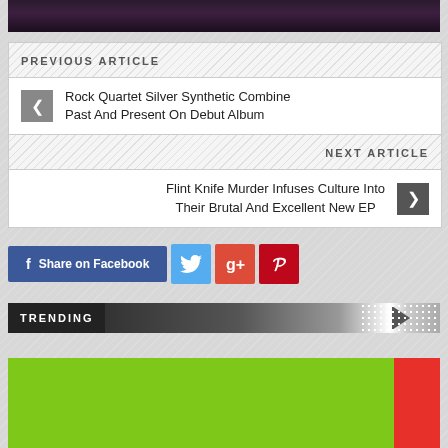[Figure (photo): Dark purple/black water or textured surface photo at top]
PREVIOUS ARTICLE
Rock Quartet Silver Synthetic Combine Past And Present On Debut Album
NEXT ARTICLE
Flint Knife Murder Infuses Culture Into Their Brutal And Excellent New EP
[Figure (other): Social share buttons: Share on Facebook (blue), Twitter (light blue), Google+ (red-orange), Pinterest (dark red)]
TRENDING
[Figure (photo): Green and red color block image at bottom]